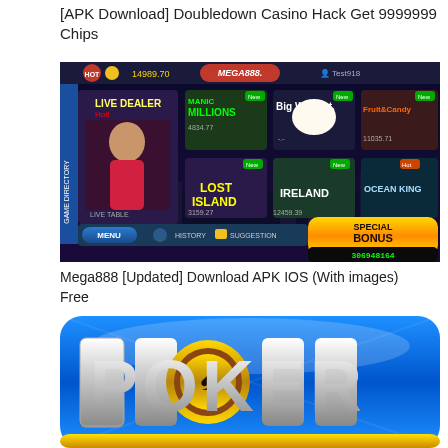[APK Download] Doubledown Casino Hack Get 9999999 Chips
[Figure (screenshot): Mega888 mobile casino app screenshot showing game lobby with Live Dealer, Manic Millions, Big Win Cat, Fruit Candy, Lost Island, Ireland, Ocean King slots. Displays balance 14989.70, Test918 user, Special Bonus 306948164. Bottom bar has Menu, History, Suggestion.]
Mega888 [Updated] Download APK IOS (With images) Free
[Figure (screenshot): Blue stylized POKER logo with poker chip in the letter O, on a shiny blue rounded rectangle background.]